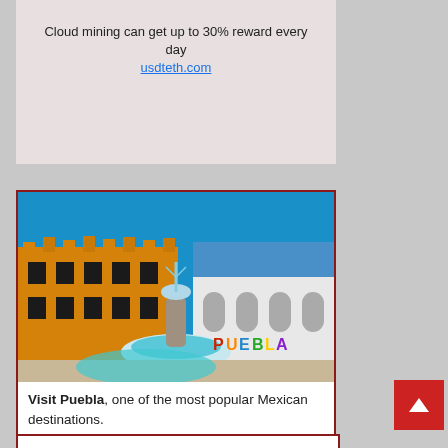Cloud mining can get up to 30% reward every day
usdteth.com
[Figure (photo): Puebla plaza with ornate yellow colonial building, fountain with turquoise water, and colorful PUEBLA letters sign]
Visit Puebla, one of the most popular Mexican destinations.